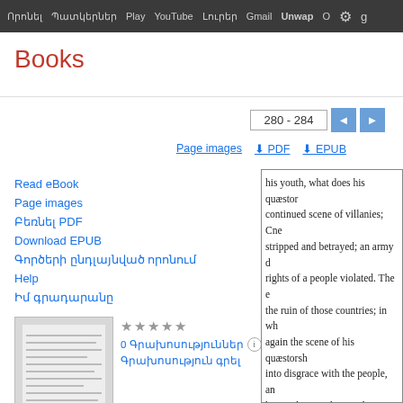Որոնել  Պատկերներ  Play  YouTube  Լուրեր  Gmail  Unwap  O  ⚙
Books
280 - 284
Page images   ⬇ PDF   ⬇ EPUB
Read eBook
Page images
Բեռնել PDF
Download EPUB
Գործերի ընդլայնված որոնում
Help
Իմ գրադարանը
[Figure (illustration): Book cover thumbnail showing printed text pages]
★★★★★
0 Գրախոսություններ ⓘ
Գրախոսություն գրել
The American Orator, Or, Elegant Extracts in Prose and Poetry:
his youth, what does his quæstor continued scene of villanies; Cne stripped and betrayed; an army d rights of a people violated. The e the ruin of those countries; in wh again the scene of his quæstorsh into disgrace with the people, an him. What was his conduct in his neglected, that he might embezzl discharge the of fice of a judge? Sicily, crowns all his works of w done by him in that unhappy cou many years under the wisest and which he found them. For it is no the protection of their own origin